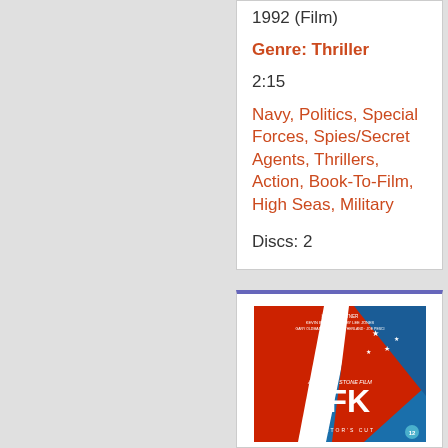1992 (Film)
Genre: Thriller
2:15
Navy, Politics, Special Forces, Spies/Secret Agents, Thrillers, Action, Book-To-Film, High Seas, Military
Discs: 2
[Figure (photo): JFK Director's Cut Blu-ray cover showing stylized American flag with red white and blue design, 'AN OLIVER STONE FILM' and 'JFK' title text, with cast credits at top including Kevin Costner, Kevin Bacon, Tommy Lee Jones, Gary Oldman, Donald Sutherland, Joe Pesci. Bottom shows 'DIRECTOR'S CUT' text and age rating.]